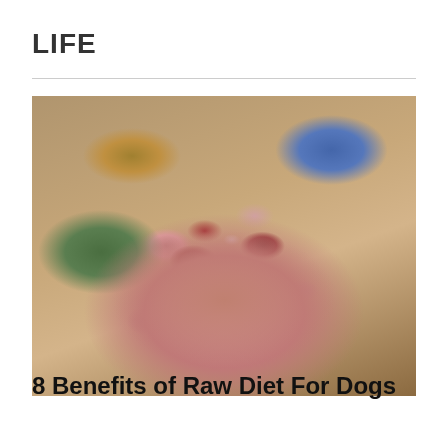LIFE
[Figure (photo): Bowls of raw meat chunks — a large pink bowl in the center filled with chopped raw dark red meat and fat, a green bowl on the left also with raw meat, a yellow bowl at top-left, and a blue bowl at top-right, all on a wooden surface.]
8 Benefits of Raw Diet For Dogs